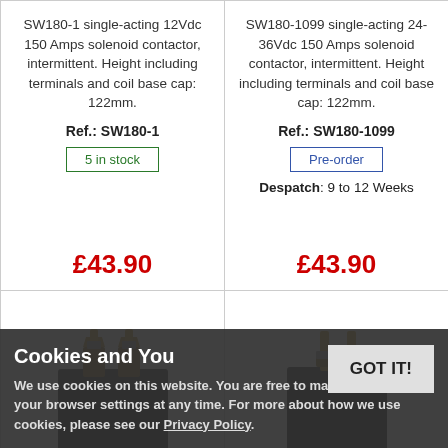SW180-1 single-acting 12Vdc 150 Amps solenoid contactor, intermittent. Height including terminals and coil base cap: 122mm.
Ref.: SW180-1
5 in stock
£43.90
SW180-1099 single-acting 24-36Vdc 150 Amps solenoid contactor, intermittent. Height including terminals and coil base cap: 122mm.
Ref.: SW180-1099
Pre-order
Despatch: 9 to 12 Weeks
£43.90
[Figure (photo): Photo of a black solenoid contactor with two gold/brass threaded terminals on top, viewed from an angle.]
[Figure (photo): Photo of a black solenoid contactor with two gold/brass threaded terminals on top, similar to left product, viewed from a slightly different angle.]
Cookies and You
We use cookies on this website. You are free to manage these via your browser settings at any time. For more about how we use cookies, please see our Privacy Policy.
GOT IT!